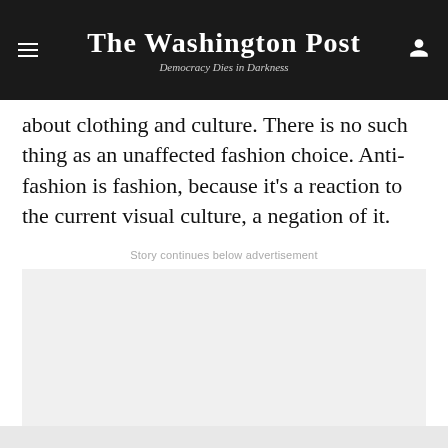The Washington Post — Democracy Dies in Darkness
about clothing and culture. There is no such thing as an unaffected fashion choice. Anti-fashion is fashion, because it's a reaction to the current visual culture, a negation of it.
Story continues below advertisement
[Figure (other): Advertisement placeholder box (light gray rectangle)]